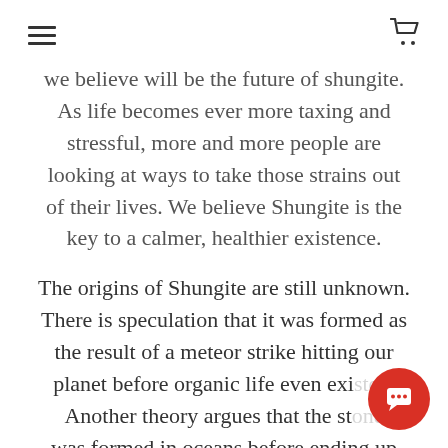≡  🛒
we believe will be the future of shungite. As life becomes ever more taxing and stressful, more and more people are looking at ways to take those strains out of their lives. We believe Shungite is the key to a calmer, healthier existence.
The origins of Shungite are still unknown. There is speculation that it was formed as the result of a meteor strike hitting our planet before organic life even exi... Another theory argues that the st... was formed in oceans before ending up